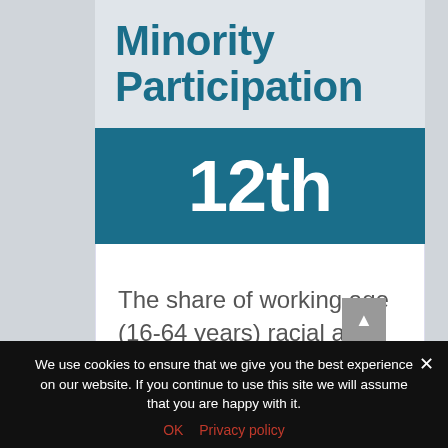Minority Participation
12th
The share of working age (16-64 years) racial and ethnic minorities (non-white population) who are in the
We use cookies to ensure that we give you the best experience on our website. If you continue to use this site we will assume that you are happy with it.
OK  Privacy policy